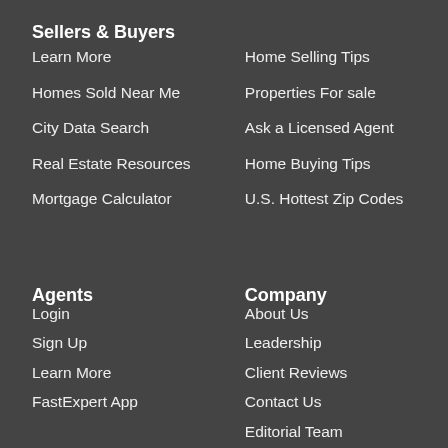Sellers & Buyers
Learn More
Home Selling Tips
Homes Sold Near Me
Properties For sale
City Data Search
Ask a Licensed Agent
Real Estate Resources
Home Buying Tips
Mortgage Calculator
U.S. Hottest Zip Codes
Agents
Company
Login
About Us
Sign Up
Leadership
Learn More
Client Reviews
FastExpert App
Contact Us
Editorial Team